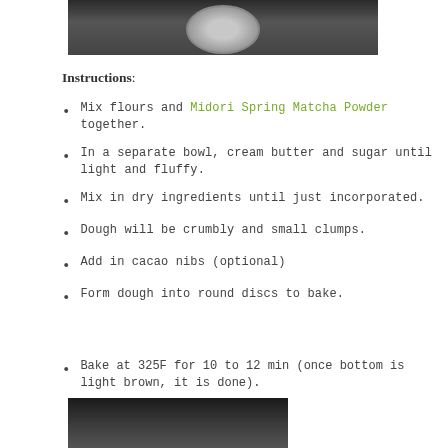[Figure (photo): Top portion of a photo showing mixing bowls or baking equipment on dark background]
Instructions:
Mix flours and Midori Spring Matcha Powder together.
In a separate bowl, cream butter and sugar until light and fluffy.
Mix in dry ingredients until just incorporated.
Dough will be crumbly and small clumps.
Add in cacao nibs (optional)
Form dough into round discs to bake.
Bake at 325F for 10 to 12 min (once bottom is light brown, it is done).
[Figure (photo): Bottom photo showing baked goods or dough being shaped, dark background]